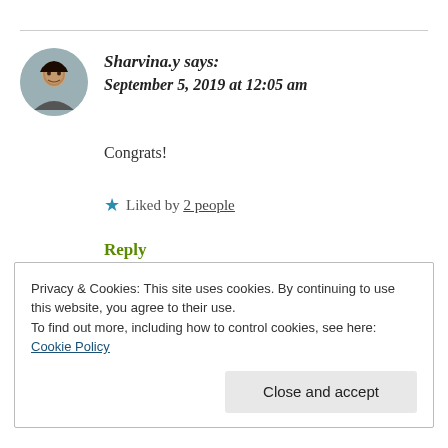Sharvina.y says: September 5, 2019 at 12:05 am
Congrats!
★ Liked by 2 people
Reply
Privacy & Cookies: This site uses cookies. By continuing to use this website, you agree to their use.
To find out more, including how to control cookies, see here: Cookie Policy
Close and accept